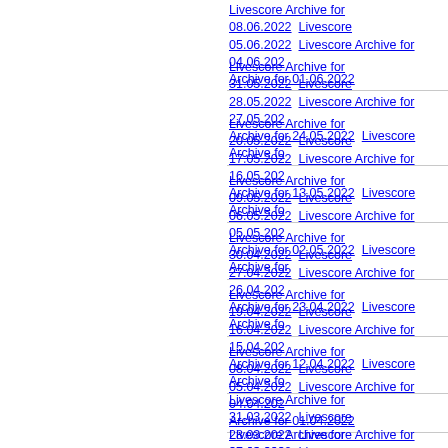Livescore Archive for 08.06.2022  Livescore 05.06.2022  Livescore Archive for 04.06.2022  Archive for 01.06.2022
Livescore Archive for 31.05.2022  Livescore 28.05.2022  Livescore Archive for 27.05.2022  Archive for 24.05.2022  Livescore Archive fo...
Livescore Archive for 20.05.2022  Livescore 17.05.2022  Livescore Archive for 16.05.2022  Archive for 13.05.2022  Livescore Archive fo...
Livescore Archive for 09.05.2022  Livescore 06.05.2022  Livescore Archive for 05.05.2022  Archive for 02.05.2022  Livescore Archive for...
Livescore Archive for 30.04.2022  Livescore 27.04.2022  Livescore Archive for 26.04.2022  Archive for 23.04.2022  Livescore Archive fo...
Livescore Archive for 19.04.2022  Livescore 16.04.2022  Livescore Archive for 15.04.2022  Archive for 12.04.2022  Livescore Archive fo...
Livescore Archive for 08.04.2022  Livescore 05.04.2022  Livescore Archive for 04.04.2022  Archive for 01.04.2022
Livescore Archive for 31.03.2022  Livescore 28.03.2022  Livescore Archive for 27.03.2022  Archive for 24.03.2022  Livescore Archive fo...
Livescore Archive for 20.03.2022  Livescore...